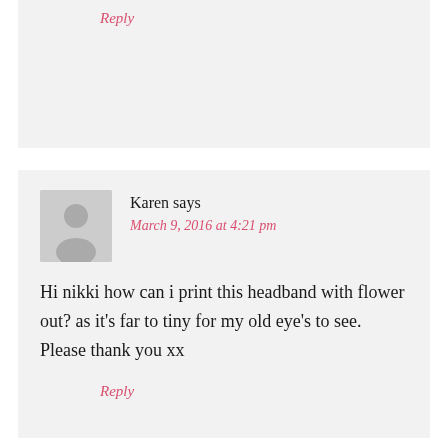Reply
Karen says
March 9, 2016 at 4:21 pm
Hi nikki how can i print this headband with flower out? as it’s far to tiny for my old eye’s to see. Please thank you xx
Reply